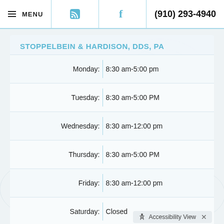MENU | RSS | Facebook | (910) 293-4940
STOPPELBEIN & HARDISON, DDS, PA
| Day | Hours |
| --- | --- |
| Monday: | 8:30 am-5:00 pm |
| Tuesday: | 8:30 am-5:00 PM |
| Wednesday: | 8:30 am-12:00 pm |
| Thursday: | 8:30 am-5:00 PM |
| Friday: | 8:30 am-12:00 pm |
| Saturday: | Closed |
| Sunday: | Closed |
Accessibility View ×